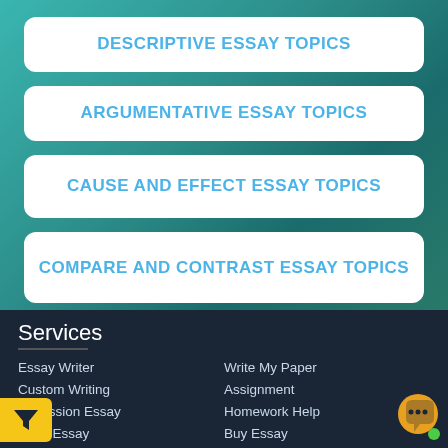DESCRIPTIVE ESSAY TOPICS
ARGUMENTATIVE ESSAY TOPICS
CAUSE AND EFFECT ESSAY TOPICS
COMPARE AND CONTRAST ESSAY TOPICS
Services
Essay Writer
Custom Writing
Admission Essay
ytical Essay
scriptive Essay
Write My Paper
Assignment
Homework Help
Buy Essay
MBA Essay